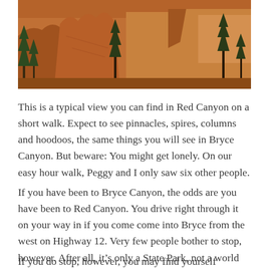[Figure (photo): Photograph of Red Canyon showing orange/red sandstone rock formations, cliffs, and evergreen trees against a blue sky]
This is a typical view you can find in Red Canyon on a short walk. Expect to see pinnacles, spires, columns and hoodoos, the same things you will see in Bryce Canyon. But beware: You might get lonely. On our easy hour walk, Peggy and I only saw six other people.
If you have been to Bryce Canyon, the odds are you have been to Red Canyon. You drive right through it on your way in if you come come into Bryce from the west on Highway 12. Very few people bother to stop, however. After all, it’s only a State Park, not a world renowned National Park.
If you do stop, however, you may find yourself